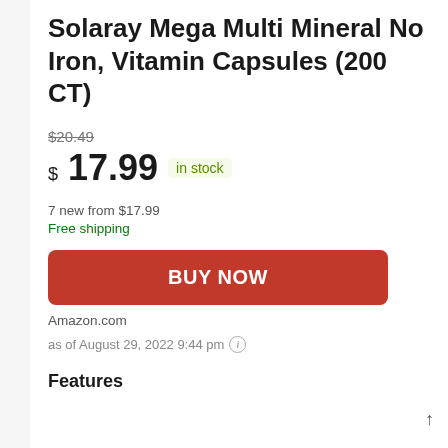Solaray Mega Multi Mineral No Iron, Vitamin Capsules (200 CT)
$20.49 (strikethrough) $17.99 in stock
7 new from $17.99
Free shipping
BUY NOW
Amazon.com
as of August 29, 2022 9:44 pm
Features